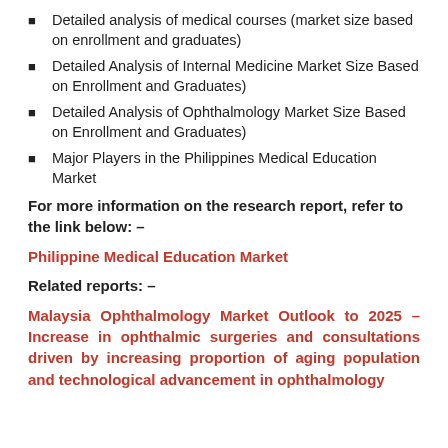Detailed analysis of medical courses (market size based on enrollment and graduates)
Detailed Analysis of Internal Medicine Market Size Based on Enrollment and Graduates)
Detailed Analysis of Ophthalmology Market Size Based on Enrollment and Graduates)
Major Players in the Philippines Medical Education Market
For more information on the research report, refer to the link below: –
Philippine Medical Education Market
Related reports: –
Malaysia Ophthalmology Market Outlook to 2025 – Increase in ophthalmic surgeries and consultations driven by increasing proportion of aging population and technological advancement in ophthalmology